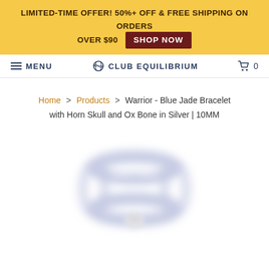LIMITED-TIME OFFER! 50%+ OFF & FREE SHIPPING ON ORDERS OVER $90  SHOP NOW
MENU  CLUB EQUILIBRIUM  0
Home > Products > Warrior - Blue Jade Bracelet with Horn Skull and Ox Bone in Silver | 10MM
[Figure (photo): Blurred product image of a blue jade bracelet with horn skull and ox bone beads in silver, viewed from above on a white background.]